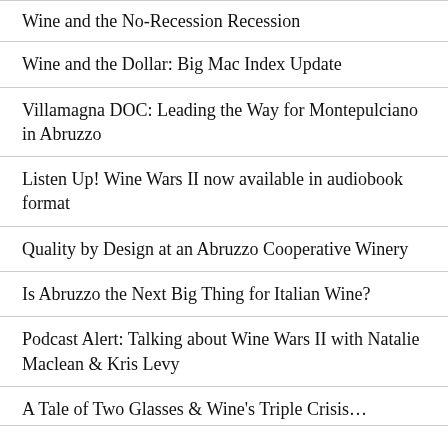Wine and the No-Recession Recession
Wine and the Dollar: Big Mac Index Update
Villamagna DOC: Leading the Way for Montepulciano in Abruzzo
Listen Up! Wine Wars II now available in audiobook format
Quality by Design at an Abruzzo Cooperative Winery
Is Abruzzo the Next Big Thing for Italian Wine?
Podcast Alert: Talking about Wine Wars II with Natalie Maclean & Kris Levy
A Tale of Two Glasses & Wine's Triple Crisis…